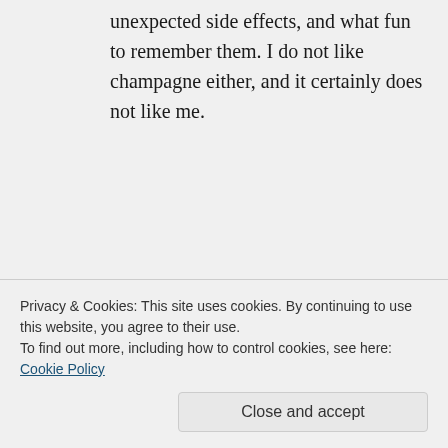unexpected side effects, and what fun to remember them. I do not like champagne either, and it certainly does not like me.
milliganp on August 5, 2014 at 1:06 pm
I suspect, at a mere 63, I might be in the youth section of this blog! There is no doubt that, given the
Privacy & Cookies: This site uses cookies. By continuing to use this website, you agree to their use. To find out more, including how to control cookies, see here: Cookie Policy
Close and accept